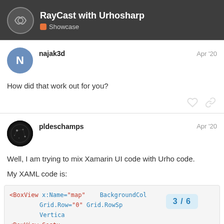RayCast with Urhosharp — Showcase
najak3d — Apr '20
How did that work out for you?
pldeschamps — Apr '20
Well, I am trying to mix Xamarin UI code with Urho code.
My XAML code is:
[Figure (screenshot): Code block showing XAML XML snippet with BoxView element, x:Name='map', BackgroundColor, Grid.Row='0', Grid.RowSpan, VerticalOptions, and BoxView.GestureRecognizers tags]
3 / 6